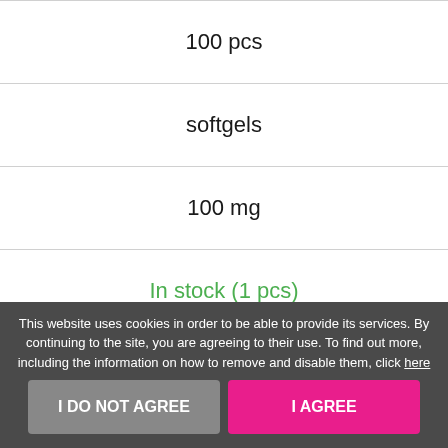100 pcs
softgels
100 mg
In stock (1 pcs)
32.78 $
This website uses cookies in order to be able to provide its services. By continuing to the site, you are agreeing to their use. To find out more, including the information on how to remove and disable them, click here
I DO NOT AGREE
I AGREE